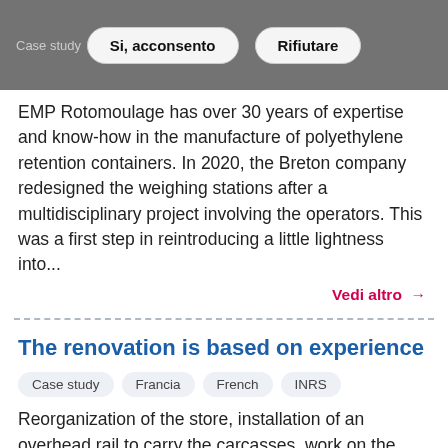[Figure (screenshot): Cookie consent overlay with 'Si, acconsento' and 'Rifiutare' buttons on dark background]
EMP Rotomoulage has over 30 years of expertise and know-how in the manufacture of polyethylene retention containers. In 2020, the Breton company redesigned the weighing stations after a multidisciplinary project involving the operators. This was a first step in reintroducing a little lightness into...
Vedi altro →
The renovation is based on experience
Case study
Francia
French
INRS
Reorganization of the store, installation of an overhead rail to carry the carcasses, work on the